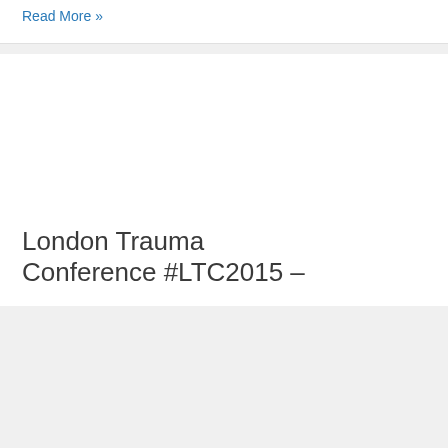Read More »
London Trauma Conference #LTC2015 –